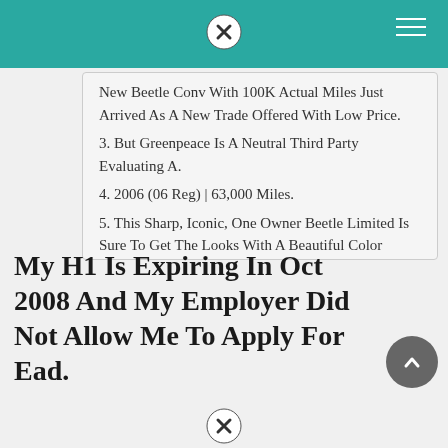New Beetle Conv With 100K Actual Miles Just Arrived As A New Trade Offered With Low Price.
3. But Greenpeace Is A Neutral Third Party Evaluating A.
4. 2006 (06 Reg) | 63,000 Miles.
5. This Sharp, Iconic, One Owner Beetle Limited Is Sure To Get The Looks With A Beautiful Color Scheme And Convertible Top!
My H1 Is Expiring In Oct 2008 And My Employer Did Not Allow Me To Apply For Ead.